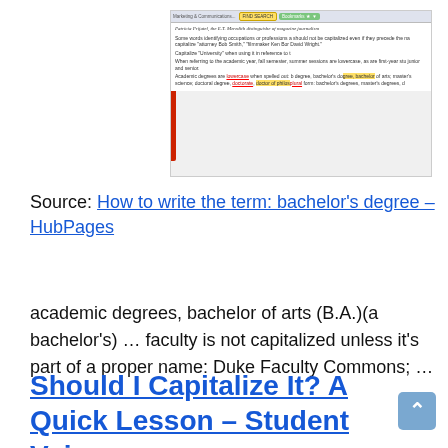[Figure (screenshot): Screenshot of a browser page showing a HubPages article about capitalizing academic degrees. Contains toolbar with search/bookmarks, a red sidebar, and text about capitalization rules including highlighted terms.]
Source: How to write the term: bachelor's degree – HubPages
academic degrees, bachelor of arts (B.A.)(a bachelor's) … faculty is not capitalized unless it's part of a proper name: Duke Faculty Commons; …
Should I Capitalize It? A Quick Lesson – Student Voices